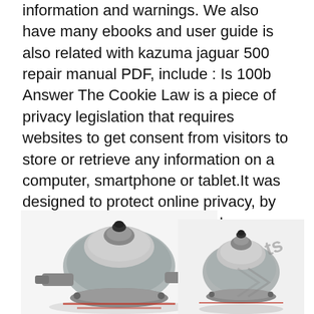information and warnings. We also have many ebooks and user guide is also related with kazuma jaguar 500 repair manual PDF, include : Is 100b Answer The Cookie Law is a piece of privacy legislation that requires websites to get consent from visitors to store or retrieve any information on a computer, smartphone or tablet.It was designed to protect online privacy, by making consumers aware of how information about them is collected and used online, and give them a choice to allow it or not.
[Figure (photo): Two carburetor images side by side — a larger one on the left and a smaller one on the right with a red border, partially showing a watermark 'ts']